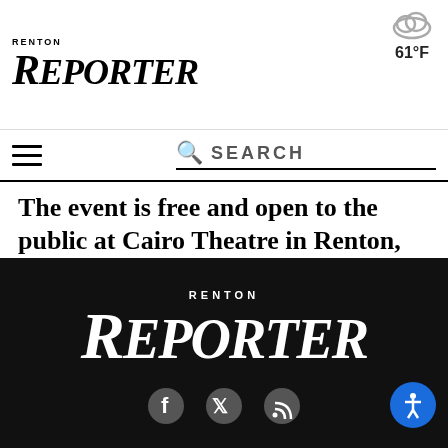RENTON REPORTER
61°F
SEARCH
The event is free and open to the public at Cairo Theatre in Renton, hosted in partnership with the Renton Chamber of Commerce.
By Reporter Staff • August 30, 2022 1:30 pm
RENTON REPORTER